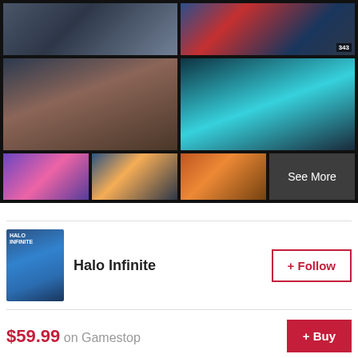[Figure (screenshot): Gallery grid of Halo Infinite game screenshots arranged in a 2-column grid with 3 rows. Top row: two landscape screenshots. Middle row: one large screenshot of soldier with gun, one space battle screenshot. Bottom row: three small thumbnails plus a 'See More' button tile.]
See More
[Figure (photo): Halo Infinite game cover art thumbnail showing a soldier in blue/green landscape]
Halo Infinite
+ Follow
$59.99 on Gamestop
+ Buy
GameSpot may get a commission from retail offers.